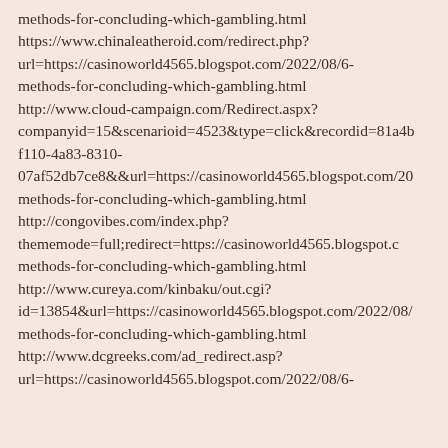methods-for-concluding-which-gambling.html https://www.chinaleatheroid.com/redirect.php?url=https://casinoworld4565.blogspot.com/2022/08/6-methods-for-concluding-which-gambling.html http://www.cloud-campaign.com/Redirect.aspx?companyid=15&scenarioid=4523&type=click&recordid=81a4b f110-4a83-8310-07af52db7ce8&&url=https://casinoworld4565.blogspot.com/20 methods-for-concluding-which-gambling.html http://congovibes.com/index.php?thememode=full;redirect=https://casinoworld4565.blogspot.c methods-for-concluding-which-gambling.html http://www.cureya.com/kinbaku/out.cgi?id=13854&url=https://casinoworld4565.blogspot.com/2022/08/ methods-for-concluding-which-gambling.html http://www.dcgreeks.com/ad_redirect.asp?url=https://casinoworld4565.blogspot.com/2022/08/6-